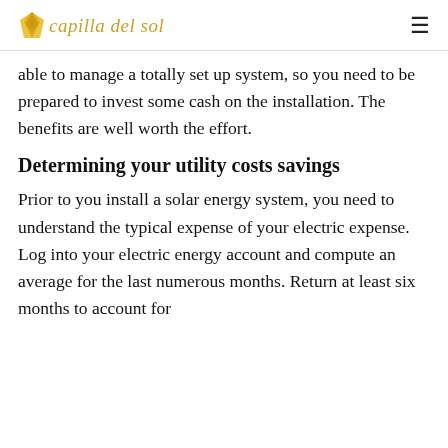capilla del sol
able to manage a totally set up system, so you need to be prepared to invest some cash on the installation. The benefits are well worth the effort.
Determining your utility costs savings
Prior to you install a solar energy system, you need to understand the typical expense of your electric expense. Log into your electric energy account and compute an average for the last numerous months. Return at least six months to account for